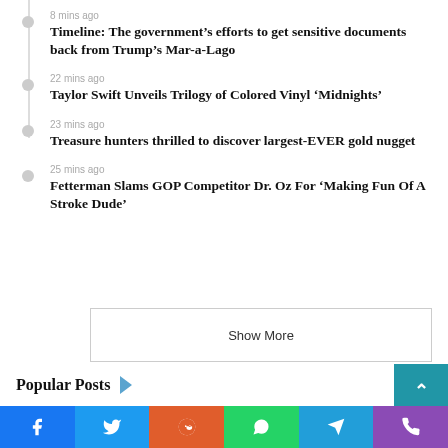8 mins ago
Timeline: The government’s efforts to get sensitive documents back from Trump’s Mar-a-Lago
22 mins ago
Taylor Swift Unveils Trilogy of Colored Vinyl ‘Midnights’
23 mins ago
Treasure hunters thrilled to discover largest-EVER gold nugget
25 mins ago
Fetterman Slams GOP Competitor Dr. Oz For ‘Making Fun Of A Stroke Dude’
Show More
Popular Posts